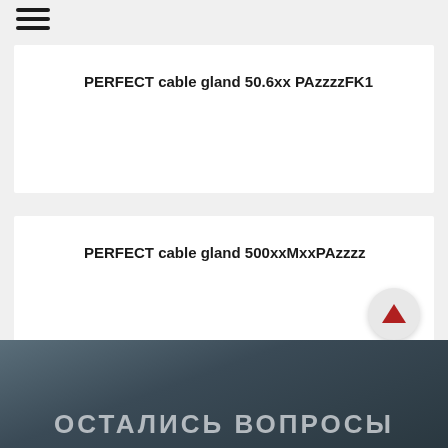≡
PERFECT cable gland 50.6xx PAzzzzFK1
PERFECT cable gland 500xxMxxPAzzzz
[Figure (other): Scroll-to-top button with red upward arrow on light gray circular background]
ОСТАЛИСЬ ВОПРОСЫ